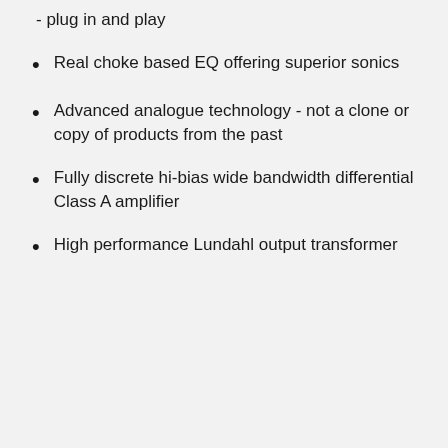- plug in and play
Real choke based EQ offering superior sonics
Advanced analogue technology - not a clone or copy of products from the past
Fully discrete hi-bias wide bandwidth differential Class A amplifier
High performance Lundahl output transformer
Details
The Buzz Audio Tonic is a single-channel true Class